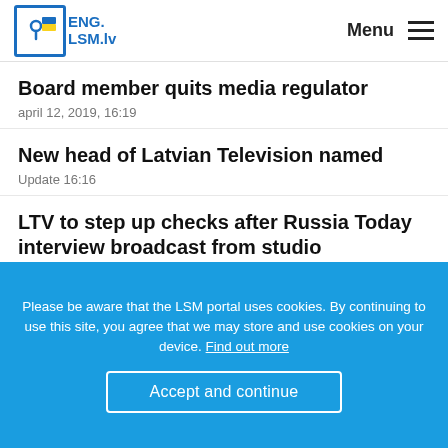ENG. LSM.lv | Menu
Board member quits media regulator
april 12, 2019, 16:19
New head of Latvian Television named
Update 16:16
LTV to step up checks after Russia Today interview broadcast from studio
march 19, 2019, 16:31
Please be aware that the LSM portal uses cookies. By continuing to use this site, you agree that we may store and use cookies on your device. Find out more
Accept and continue